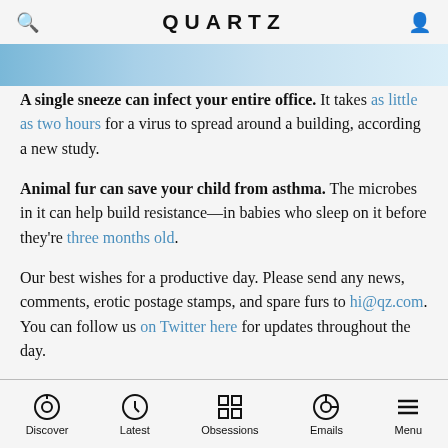QUARTZ
[Figure (photo): Partial hero image strip showing a blue-toned image, partially visible at the top of the content area]
A single sneeze can infect your entire office. It takes as little as two hours for a virus to spread around a building, according a new study.
Animal fur can save your child from asthma. The microbes in it can help build resistance—in babies who sleep on it before they're three months old.
Our best wishes for a productive day. Please send any news, comments, erotic postage stamps, and spare furs to hi@qz.com. You can follow us on Twitter here for updates throughout the day.
Discover | Latest | Obsessions | Emails | Menu